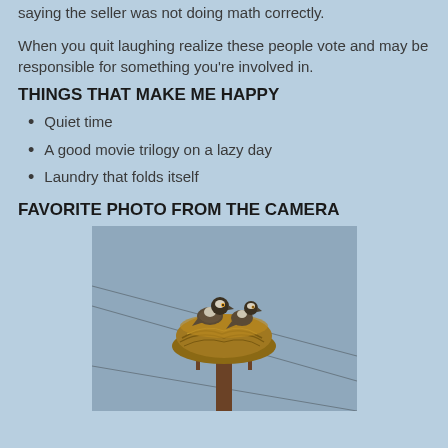saying the seller was not doing math correctly.
When you quit laughing realize these people vote and may be responsible for something you're involved in.
THINGS THAT MAKE ME HAPPY
Quiet time
A good movie trilogy on a lazy day
Laundry that folds itself
FAVORITE PHOTO FROM THE CAMERA
[Figure (photo): Two birds (ospreys) sitting in a large nest on top of a wooden utility pole, with power lines crossing diagonally in the background against a grey-blue sky.]